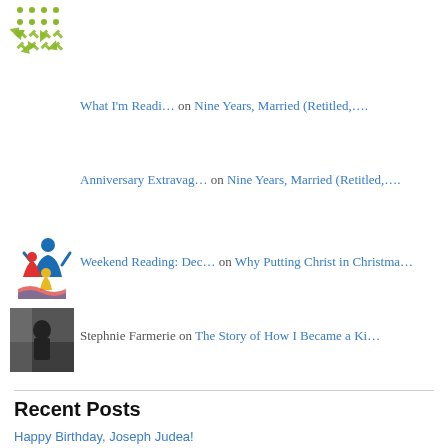[Figure (logo): Green dotted logo with arrows]
What I'm Readi… on Nine Years, Married (Retitled,….
Anniversary Extravag… on Nine Years, Married (Retitled,….
[Figure (logo): Family figures logo in red, blue, yellow]
Weekend Reading: Dec… on Why Putting Christ in Christma…
[Figure (photo): Dark silhouette photo thumbnail]
Stephnie Farmerie on The Story of How I Became a Ki…
Recent Posts
Happy Birthday, Joseph Judea!
Dogs, ALS, and How I'm Dealing with all the Bad News
Anniversary Extravaganza 2014!
Nine Years, Married (Retitled, Hard Isn't Bad)
It's Hard to Have a Blog